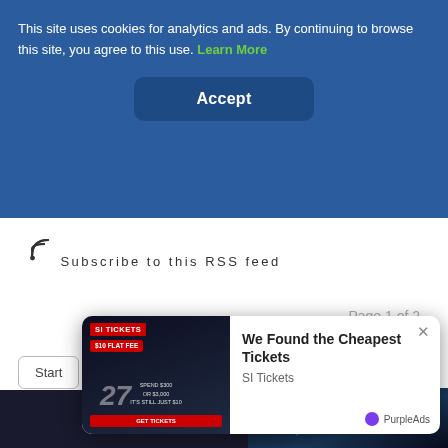This site uses cookies for analytics and ads. By continuing to browse this site, you agree to this use. Learn More
Accept
Subscribe to this RSS feed
Page 1 of 2
Start  Prev  1  2  Next  End
[Figure (screenshot): Dark video player area with teal circular icon and blue play arrow]
[Figure (infographic): SI Tickets advertisement popup showing $10 Flat Fee offer with football player image. Text: We Found the Cheapest Tickets. SI Tickets. PurpleAds.]